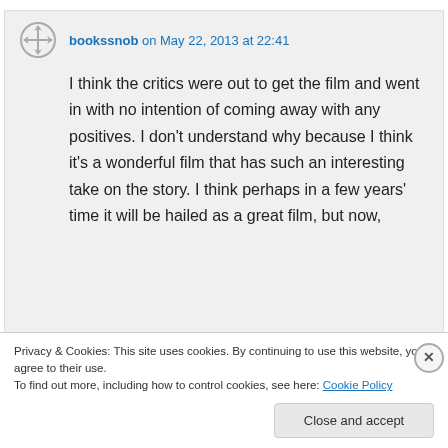bookssnob on May 22, 2013 at 22:41
I think the critics were out to get the film and went in with no intention of coming away with any positives. I don't understand why because I think it's a wonderful film that has such an interesting take on the story. I think perhaps in a few years' time it will be hailed as a great film, but now,
Privacy & Cookies: This site uses cookies. By continuing to use this website, you agree to their use.
To find out more, including how to control cookies, see here: Cookie Policy
Close and accept